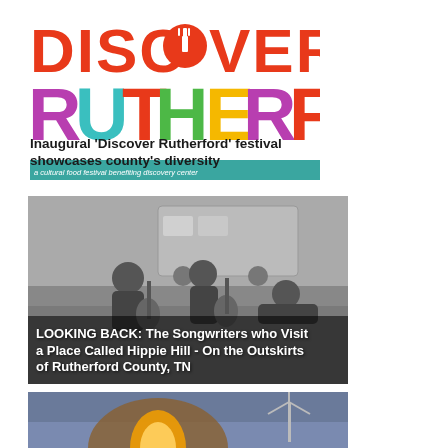[Figure (logo): Discover Rutherford logo with fork icon replacing the O in Discover and colorful RUTHERFORD text below]
Inaugural 'Discover Rutherford' festival showcases county's diversity
a cultural food festival benefiting discovery center
[Figure (photo): Black and white photo of songwriters playing guitars outdoors near a trailer, with overlay text: LOOKING BACK: The Songwriters who Visit a Place Called Hippie Hill - On the Outskirts of Rutherford County, TN]
[Figure (photo): Partial photo of a glowing tent or structure at dusk with a wind turbine in the background]